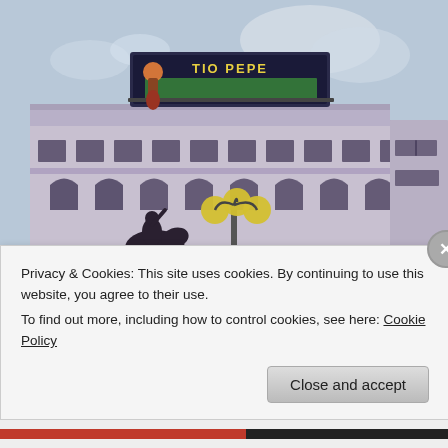[Figure (illustration): Watercolour illustration of Puerta del Sol, Madrid, showing the Tio Pepe neon sign on a rooftop, a building facade with arched windows, a horse and rider statue, yellow street lamps, and pedestrians, rendered in a sketchy watercolour style.]
Privacy & Cookies: This site uses cookies. By continuing to use this website, you agree to their use.
To find out more, including how to control cookies, see here: Cookie Policy
Close and accept